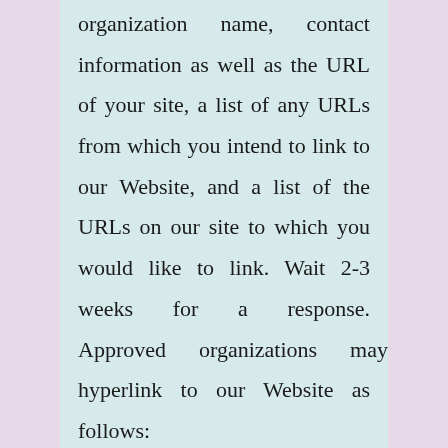organization name, contact information as well as the URL of your site, a list of any URLs from which you intend to link to our Website, and a list of the URLs on our site to which you would like to link. Wait 2-3 weeks for a response. Approved organizations may hyperlink to our Website as follows: